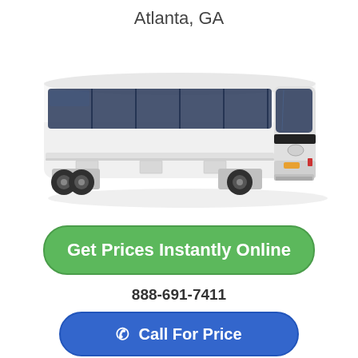Atlanta, GA
[Figure (photo): A large white motor coach / charter bus photographed from a side-front angle on a white background.]
Get Prices Instantly Online
888-691-7411
Call For Price